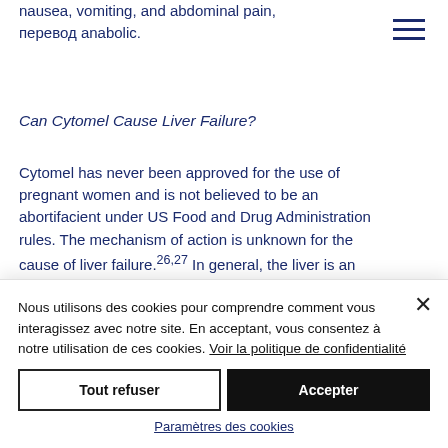nausea, vomiting, and abdominal pain, перевод anabolic.
Can Cytomel Cause Liver Failure?
Cytomel has never been approved for the use of pregnant women and is not believed to be an abortifacient under US Food and Drug Administration rules. The mechanism of action is unknown for the cause of liver failure.26,27 In general, the liver is an important organ that protects against obesity
Nous utilisons des cookies pour comprendre comment vous interagissez avec notre site. En acceptant, vous consentez à notre utilisation de ces cookies. Voir la politique de confidentialité
Tout refuser
Accepter
Paramètres des cookies